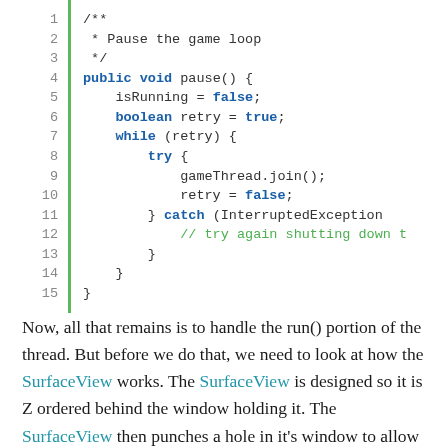[Figure (screenshot): Java code block showing a pause() method with line numbers 1-15, featuring a green vertical bar on the left. Code includes a Javadoc comment, public void pause() method, isRunning = false, boolean retry = true, while loop, try-catch block with gameThread.join() and InterruptedException handling.]
Now, all that remains is to handle the run() portion of the thread. But before we do that, we need to look at how the SurfaceView works. The SurfaceView is designed so it is Z ordered behind the window holding it. The SurfaceView then punches a hole in it's window to allow its surface to be displayed. The standard view...